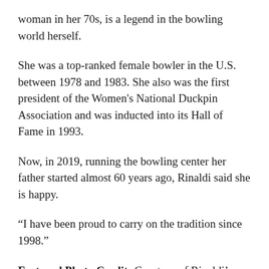woman in her 70s, is a legend in the bowling world herself.
She was a top-ranked female bowler in the U.S. between 1978 and 1983. She also was the first president of the Women's National Duckpin Association and was inducted into its Hall of Fame in 1993.
Now, in 2019, running the bowling center her father started almost 60 years ago, Rinaldi said she is happy.
“I have been proud to carry on the tradition since 1998.”
Featured Photo Credit: Courtesy of Rinaldi’s Riverdale Bowl’s Facebook page.